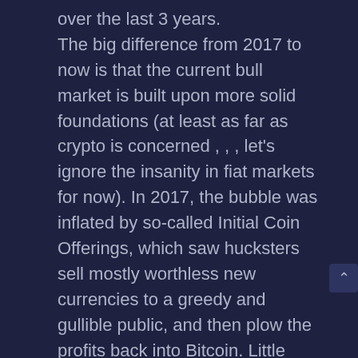over the last 3 years. The big difference from 2017 to now is that the current bull market is built upon more solid foundations (at least as far as crypto is concerned , , , let's ignore the insanity in fiat markets for now). In 2017, the bubble was inflated by so-called Initial Coin Offerings, which saw hucksters sell mostly worthless new currencies to a greedy and gullible public, and then plow the profits back into Bitcoin. Little wonder things blew up. This time around, tighter regulation means there's less dumb money sloshing around, while the media—distracted by COVID, politics, and a roaring stock market — has been more subdued in hyping the rally.